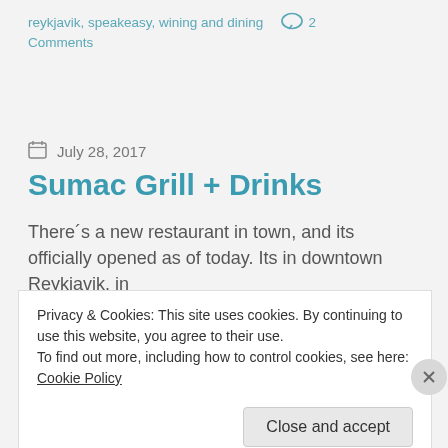reykjavik, speakeasy, wining and dining  💬 2
Comments
July 28, 2017
Sumac Grill + Drinks
There´s a new restaurant in town, and its officially opened as of today. Its in downtown Reykjavik, in
Privacy & Cookies: This site uses cookies. By continuing to use this website, you agree to their use.
To find out more, including how to control cookies, see here: Cookie Policy
Close and accept